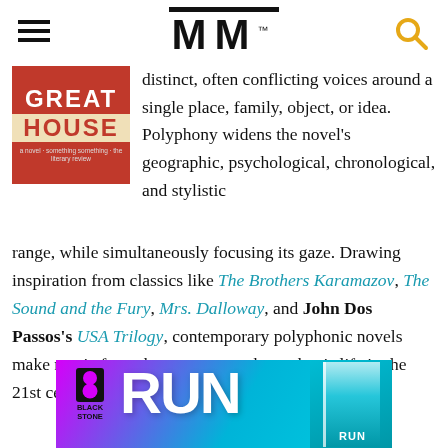MM
[Figure (illustration): Book cover for 'Great House' with red background and white/cream lettering]
distinct, often conflicting voices around a single place, family, object, or idea. Polyphony widens the novel's geographic, psychological, chronological, and stylistic range, while simultaneously focusing its gaze. Drawing inspiration from classics like The Brothers Karamazov, The Sound and the Fury, Mrs. Dalloway, and John Dos Passos's USA Trilogy, contemporary polyphonic novels make music from the messy cacophony that is life in the 21st century.
[Figure (illustration): Advertisement banner for Blackstone Publishing featuring 'RUN' title with colorful background (pink/teal gradient) and book cover image]